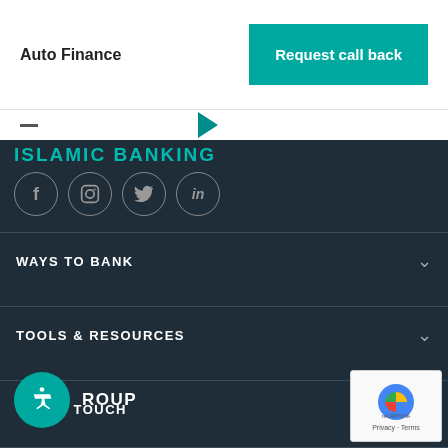Auto Finance
Request callback
ISLAMIC BANKING
[Figure (other): Social media icons: Facebook, Instagram, Twitter, LinkedIn in circular outlines]
WAYS TO BANK
TOOLS & RESOURCES
GET IN TOUCH
[Figure (other): Accessibility icon button (wheelchair symbol) in teal circle]
GROUP
[Figure (other): reCAPTCHA badge with Privacy - Terms text]